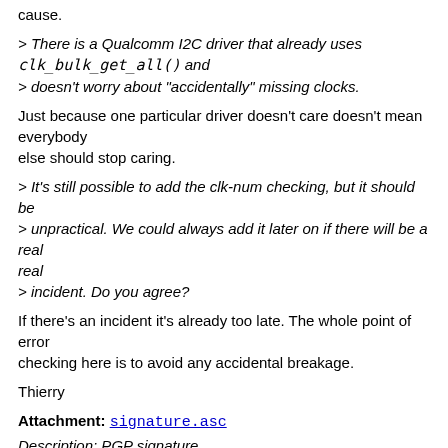cause.
> There is a Qualcomm I2C driver that already uses clk_bulk_get_all() and
> doesn't worry about "accidentally" missing clocks.
Just because one particular driver doesn't care doesn't mean everybody
else should stop caring.
> It's still possible to add the clk-num checking, but it should be
> unpractical. We could always add it later on if there will be a real
> incident. Do you agree?
If there's an incident it's already too late. The whole point of error checking here is to avoid any accidental breakage.
Thierry
Attachment: signature.asc
Description: PGP signature
Next message: Hsin-Hsiung Wang: "[PATCH v3 1/4] soc: mediatek: pwrap: use BIT() macro"